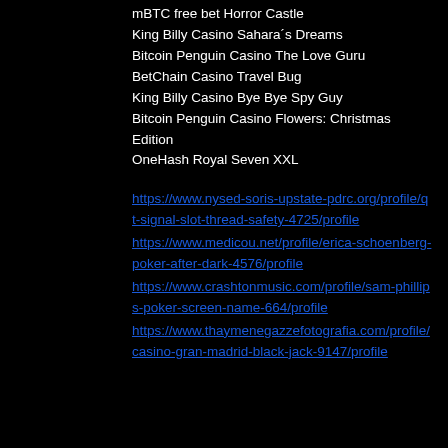mBTC free bet Horror Castle
King Billy Casino Sahara´s Dreams
Bitcoin Penguin Casino The Love Guru
BetChain Casino Travel Bug
King Billy Casino Bye Bye Spy Guy
Bitcoin Penguin Casino Flowers: Christmas Edition
OneHash Royal Seven XXL
https://www.nysed-soris-upstate-pdrc.org/profile/qt-signal-slot-thread-safety-4725/profile
https://www.medicou.net/profile/erica-schoenberg-poker-after-dark-4576/profile
https://www.crashtonmusic.com/profile/sam-phillips-poker-screen-name-664/profile
https://www.thaymenegazzefotografia.com/profile/casino-gran-madrid-black-jack-9147/profile